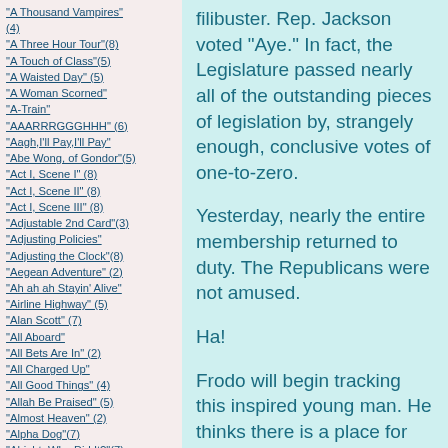"A Thousand Vampires" (4)
"A Three Hour Tour"(8)
"A Touch of Class"(5)
"A Waisted Day" (5)
"A Woman Scorned"
"A-Train"
"AAARRRGGGHHH" (6)
"Aagh,I'll Pay,I'll Pay"
"Abe Wong, of Gondor"(5)
"Act I, Scene I" (8)
"Act I, Scene II" (8)
"Act I, Scene III" (8)
"Adjustable 2nd Card"(3)
"Adjusting Policies"
"Adjusting the Clock"(8)
"Aegean Adventure" (2)
"Ah ah ah Stayin' Alive"
"Airline Highway" (5)
"Alan Scott" (7)
"All Aboard"
"All Bets Are In" (2)
"All Charged Up"
"All Good Things" (4)
"Allah Be Praised" (5)
"Almost Heaven" (2)
"Alpha Dog"(7)
"Alright, Who Did It?"(7)
"Also Sprach Frodo" (4)
filibuster.  Rep. Jackson voted "Aye."  In fact, the Legislature passed nearly all of the outstanding pieces of legislation by, strangely enough, conclusive votes of one-to-zero.

Yesterday, nearly the entire membership returned to duty.  The Republicans were not amused.

Ha!

Frodo will begin tracking this inspired young man.  He thinks there is a place for him on a national ticket, perhaps in 2024.